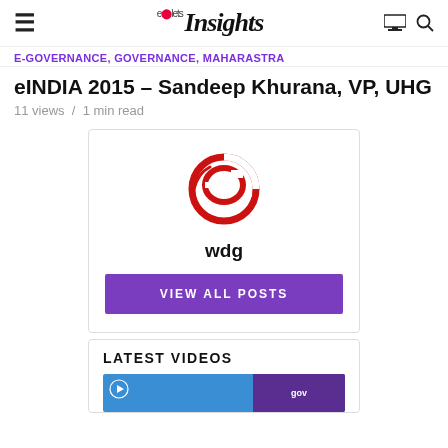elets Insights
E-GOVERNANCE, GOVERNANCE, MAHARASTRA
eINDIA 2015 – Sandeep Khurana, VP, UHG
11 views / 1 min read
[Figure (logo): Author card with red elets logo, username 'wdg', and 'VIEW ALL POSTS' purple button]
LATEST VIDEOS
[Figure (screenshot): Partial video thumbnail at bottom of page]